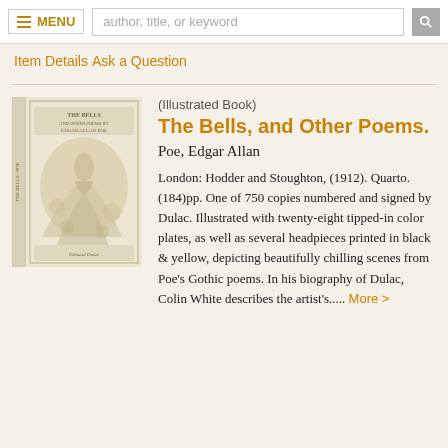MENU  |  author, title, or keyword
Item Details
Ask a Question
[Figure (photo): Photo of the book 'The Bells, and Other Poems' showing a decorative illustrated cover with figures and foliage in sepia/cream tones]
(Illustrated Book)
The Bells, and Other Poems.
Poe, Edgar Allan
London: Hodder and Stoughton, (1912). Quarto. (184)pp. One of 750 copies numbered and signed by Dulac. Illustrated with twenty-eight tipped-in color plates, as well as several headpieces printed in black & yellow, depicting beautifully chilling scenes from Poe's Gothic poems. In his biography of Dulac, Colin White describes the artist's..... More >